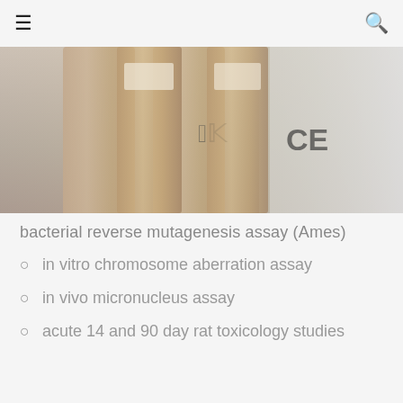≡  🔍
[Figure (photo): Close-up photo of laboratory test tubes or vials with CE marking visible, shown against a light background. The tubes appear to be medical/diagnostic sample containers.]
bacterial reverse mutagenesis assay (Ames)
in vitro chromosome aberration assay
in vivo micronucleus assay
acute 14 and 90 day rat toxicology studies